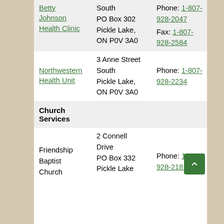| Name | Address | Contact |
| --- | --- | --- |
| Betty
Johnson
Health Clinic | South
PO Box 302
Pickle Lake,
ON P0V 3A0 | Phone: 1-807-928-2047
Fax: 1-807-928-2584 |
| Northwestern
Health Unit | 3 Anne Street
South
Pickle Lake,
ON P0V 3A0 | Phone: 1-807-928-2234 |
| Church Services |  |  |
| Friendship
Baptist
Church | 2 Connell
Drive
PO Box 332
Pickle Lake | Phone: 1-807-928-2181 |